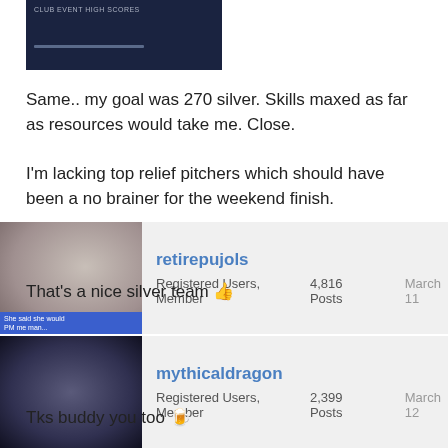[Figure (screenshot): Screenshot of a game leaderboard or club event high scores screen with dark blue background]
Same.. my goal was 270 silver. Skills maxed as far as resources would take me. Close.

I'm lacking top relief pitchers which should have been a no brainer for the weekend finish.
retirepujols
Registered Users, Member	4,816 Posts	March 11
That's a nice silver team 👍
mythicaldragon
Registered Users, Member	2,399 Posts	March 12
Tks buddy you too 🍺